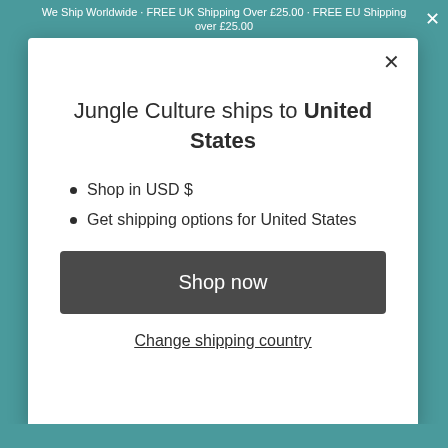We Ship Worldwide • FREE UK Shipping Over £25.00 • FREE EU Shipping over £25.00
Jungle Culture ships to United States
Shop in USD $
Get shipping options for United States
Shop now
Change shipping country